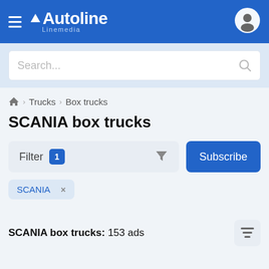Autoline Linemedia
Search...
🏠 › Trucks › Box trucks
SCANIA box trucks
Filter 1  Subscribe
SCANIA ×
SCANIA box trucks: 153 ads